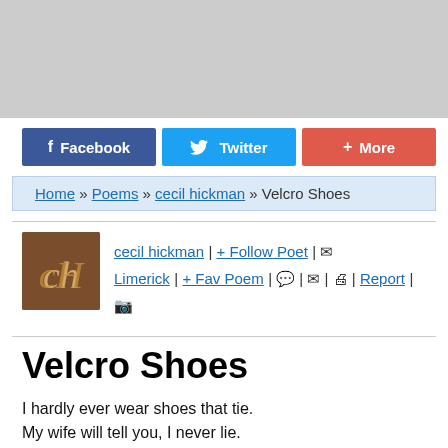[Figure (other): Gray banner/advertisement area at top of page]
Facebook  Twitter  + More
Home » Poems » cecil hickman » Velcro Shoes
cecil hickman | + Follow Poet | Limerick | + Fav Poem | | | | Report |
Velcro Shoes
I hardly ever wear shoes that tie.
My wife will tell you, I never lie.
Velcro shoes are my game.
I love them without shame.
If they stopped making them, I would cry.